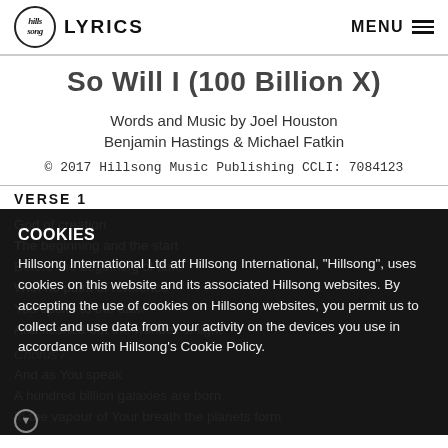Hillsong LYRICS | MENU
So Will I (100 Billion X)
Words and Music by Joel Houston Benjamin Hastings & Michael Fatkin
© 2017 Hillsong Music Publishing CCLI: 7084123
VERSE 1
God of creation
The beginning and the start
Before the beginning of time
With no point of reference
You spoke to the dark
And fleshed out the wonder of light
CHORUS
And as You speak
A hundred billion galaxies are born
In the vapour of Your breath the planets form
COOKIES
Hillsong International Ltd atf Hillsong International, "Hillsong", uses cookies on this website and its associated Hillsong websites. By accepting the use of cookies on Hillsong websites, you permit us to collect and use data from your activity on the devices you use in accordance with Hillsong's Cookie Policy.